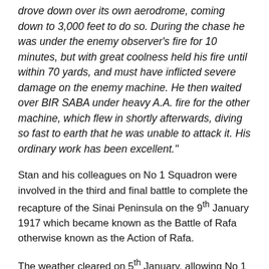drove down over its own aerodrome, coming down to 3,000 feet to do so. During the chase he was under the enemy observer's fire for 10 minutes, but with great coolness held his fire until within 70 yards, and must have inflicted severe damage on the enemy machine. He then waited over BIR SABA under heavy A.A. fire for the other machine, which flew in shortly afterwards, diving so fast to earth that he was unable to attack it. His ordinary work has been excellent."
Stan and his colleagues on No 1 Squadron were involved in the third and final battle to complete the recapture of the Sinai Peninsula on the 9th January 1917 which became known as the Battle of Rafa otherwise known as the Action of Rafa.
The weather cleared on 5th January, allowing No 1 Squadron to carry our a patrol where they observed 2 – 3,000 Ottoman soldiers digging defences south of Rafa